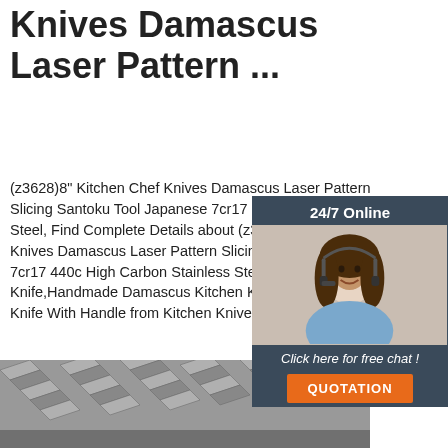Knives Damascus Laser Pattern ...
(z3628)8" Kitchen Chef Knives Damascus Laser Pattern Slicing Santoku Tool Japanese 7cr17 High Carbon Stainless Steel, Find Complete Details about (z3628)8" Kitchen Chef Knives Damascus Laser Pattern Slicing Santoku Japanese 7cr17 440c High Carbon Stainless Steel,8" Chef Kitchen Knife,Handmade Damascus Kitchen Knife,Japanese Chef Knife With Handle from Kitchen Knives ...
[Figure (photo): Customer service representative woman with headset, 24/7 Online chat widget with orange QUOTATION button]
Get Price
[Figure (logo): TOP arrow logo with orange dots]
[Figure (photo): Stacked metal angle iron bars, bottom strip photo]